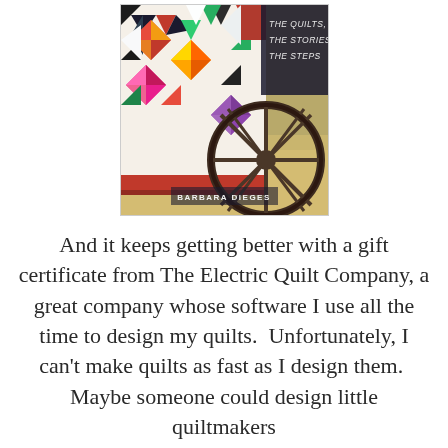[Figure (photo): Book cover showing a colorful patchwork quilt draped over a wooden wagon wheel in a field. Text on the cover reads 'The Quilts, The Stories, The Steps' and 'Barbara Dieges'.]
And it keeps getting better with a gift certificate from The Electric Quilt Company, a great company whose software I use all the time to design my quilts.  Unfortunately, I can't make quilts as fast as I design them.  Maybe someone could design little quiltmakers to make them all the same time.